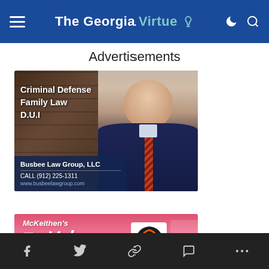The Georgia Virtue
Advertisements
[Figure (photo): Busbee Law Group LLC advertisement showing a man in a suit in front of bookshelves, with text: Criminal Defense, Family Law, D.U.I, Busbee Law Group LLC, CALL (912) 225-1311, www.busbeelawgroup.com]
[Figure (photo): McKeithen's True Value hardware store advertisement with pink background and Blackstone logo]
Social share icons: Facebook, Twitter, Link, Comment, More